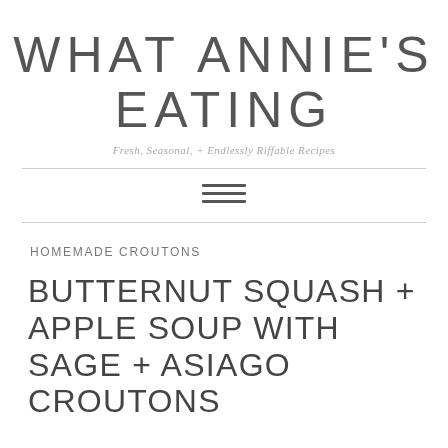WHAT ANNIE'S EATING
Fresh, Seasonal, + Endlessly Riffable Recipes
[Figure (other): Hamburger menu icon with three horizontal lines]
HOMEMADE CROUTONS
BUTTERNUT SQUASH + APPLE SOUP WITH SAGE + ASIAGO CROUTONS